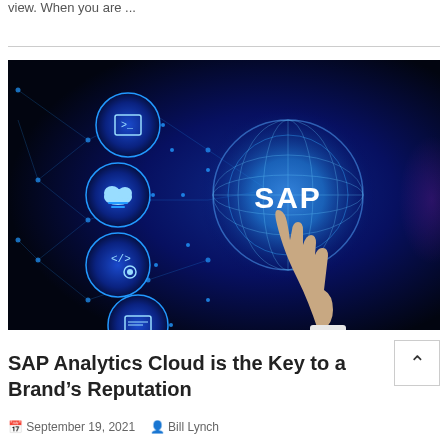view. When you are ...
[Figure (illustration): Technology image showing a hand pointing at a glowing blue SAP logo button with circular icons representing coding, cloud, and computing against a dark blue digital background]
SAP Analytics Cloud is the Key to a Brand’s Reputation
September 19, 2021   Bill Lynch